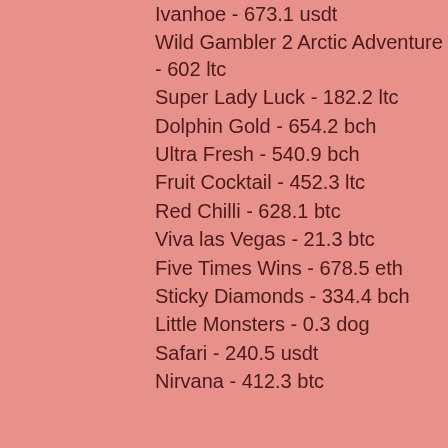Ivanhoe - 673.1 usdt
Wild Gambler 2 Arctic Adventure - 602 ltc
Super Lady Luck - 182.2 ltc
Dolphin Gold - 654.2 bch
Ultra Fresh - 540.9 bch
Fruit Cocktail - 452.3 ltc
Red Chilli - 628.1 btc
Viva las Vegas - 21.3 btc
Five Times Wins - 678.5 eth
Sticky Diamonds - 334.4 bch
Little Monsters - 0.3 dog
Safari - 240.5 usdt
Nirvana - 412.3 btc
Popular Slots:
Mars Casino All Ways Fruits
Betchan Casino Magic Stone
CryptoGames Arabian Nights
mBTC free bet Casino Royale
mBTC free bet Genies Gems
Betchan Casino Little Red